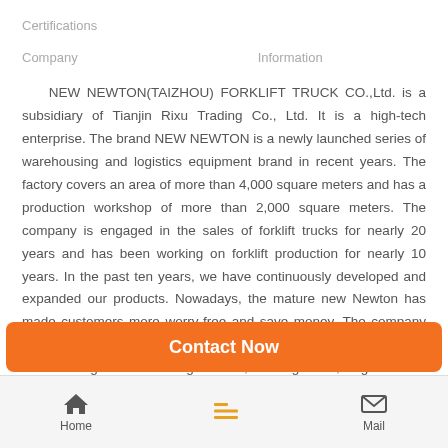Certifications
Company   Information
NEW NEWTON(TAIZHOU) FORKLIFT TRUCK CO.,Ltd. is a subsidiary of Tianjin Rixu Trading Co., Ltd. It is a high-tech enterprise. The brand NEW NEWTON is a newly launched series of warehousing and logistics equipment brand in recent years. The factory covers an area of more than 4,000 square meters and has a production workshop of more than 2,000 square meters. The company is engaged in the sales of forklift trucks for nearly 20 years and has been working on forklift production for nearly 10 years. In the past ten years, we have continuously developed and expanded our products. Nowadays, the mature new Newton has made customers more worry-free and save money. The company has high-tech technicians and has 100T hydraulic presses, large EDM cutting and machining centers, welding robot, large surface treatment machines, drying lines and fully automatic spray lines imported from the UK; the company's
Contact Now
Home   Mail